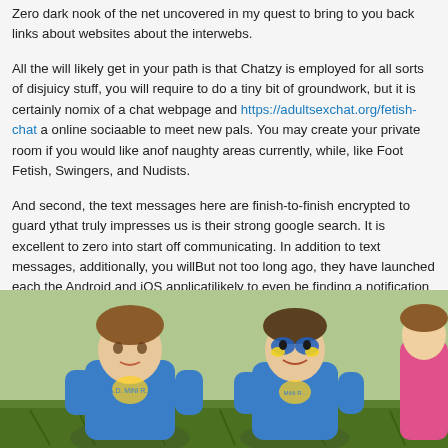Zero dark nook of the net uncovered in my quest to bring to you back links about websites about the interwebs.

All the will likely get in your path is that Chatzy is employed for all sorts of dis... juicy stuff, you will require to do a tiny bit of groundwork, but it is certainly no... mix of a chat webpage and https://adultsexchat.org/fetish-chat a online socia... able to meet new pals. You may create your private room if you would like an... of naughty areas currently, while, like Foot Fetish, Swingers, and Nudists.

And second, the text messages here are finish-to-finish encrypted to guard y... that truly impresses us is their strong google search. It is excellent to zero in... to start off communicating. In addition to text messages, additionally, you will... But not too long ago, they have launched each the Android and iOS applicati... likely to even be finding a notification if perhaps somebody requires a screen... finest points with this platform is that it has an in-built advertising and market... discussion requests.
[Figure (photo): Photo of children wearing blue sweatshirts sitting on grass, one child has blue and yellow face paint]